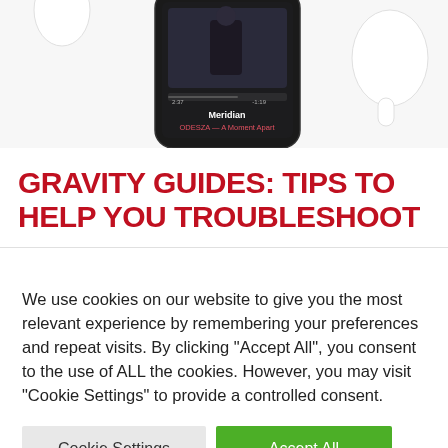[Figure (illustration): iPhone with Apple Music app showing 'Meridian' by ODESZA — A Moment Apart, with AirPods in the background]
GRAVITY GUIDES: TIPS TO HELP YOU TROUBLESHOOT
We use cookies on our website to give you the most relevant experience by remembering your preferences and repeat visits. By clicking "Accept All", you consent to the use of ALL the cookies. However, you may visit "Cookie Settings" to provide a controlled consent.